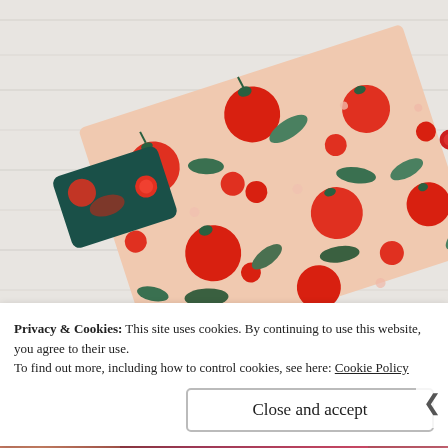[Figure (photo): A fabric pouch/bag with a tomato and leaves print on a peachy-cream background, with a dark teal handle/tab with a red button snap. The pouch is laid flat on a white painted wood surface.]
Privacy & Cookies: This site uses cookies. By continuing to use this website, you agree to their use.
To find out more, including how to control cookies, see here: Cookie Policy
Close and accept